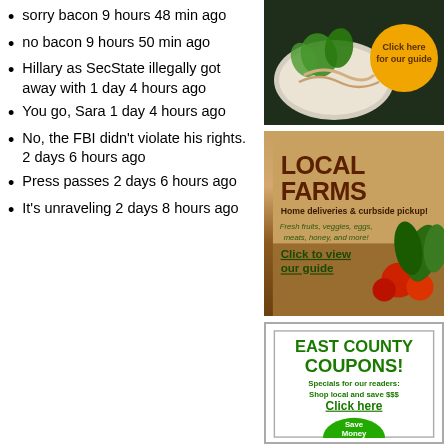sorry bacon 9 hours 48 min ago
no bacon 9 hours 50 min ago
Hillary as SecState illegally got away with 1 day 4 hours ago
You go, Sara 1 day 4 hours ago
No, the FBI didn't violate his rights. 2 days 6 hours ago
Press passes 2 days 6 hours ago
It's unraveling 2 days 8 hours ago
[Figure (photo): Food/salad photo with a yellow circle button saying 'Click here for our guide']
[Figure (illustration): LOCAL FARMS ad: Home deliveries & curbside pickup! Fresh fruits, veggies, eggs, meats, honey, and more! Click to view our guide]
[Figure (infographic): EAST COUNTY COUPONS! Specials for our readers: Shop local and save $$$ Click here — with green Save Money circle button]